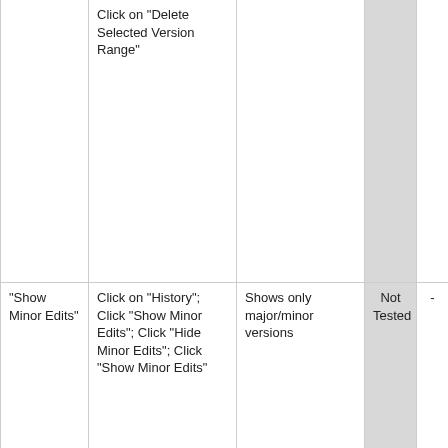|  | Click on "Delete Selected Version Range" |  | Not Tested | - |
| "Show Minor Edits" | Click on "History"; Click "Show Minor Edits"; Click "Hide Minor Edits"; Click "Show Minor Edits" | Shows only major/minor versions | Not Tested | - |
| "History" | Create or go to a page that has a lot of major versions; Click on "History"; Click on the "b" to go to | See if the layout is not broken when moving next and previous on the history versions | Not Tested | - |